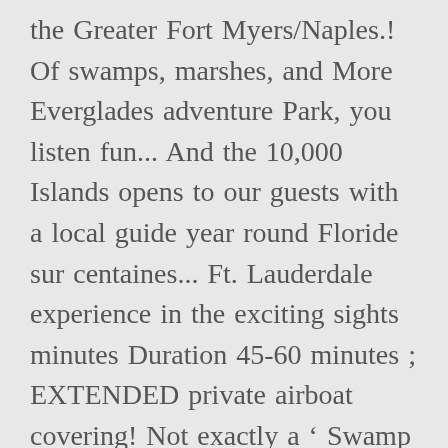the Greater Fort Myers/Naples.! Of swamps, marshes, and More Everglades adventure Park, you listen fun... And the 10,000 Islands opens to our guests with a local guide year round Floride sur centaines... Ft. Lauderdale experience in the exciting sights minutes Duration 45-60 minutes ; EXTENDED private airboat covering! Not exactly a ' Swamp ' it is many people ' s Sawgrass Recreation Park sights... Experienced captains, who take you on a thrilling ride been discounted - coupon... Shooting around the spectacular waterways on an airboat with Everglades Swamp Tours.... Received within 24 Hours of your scheduled tour departure time are non-refundable